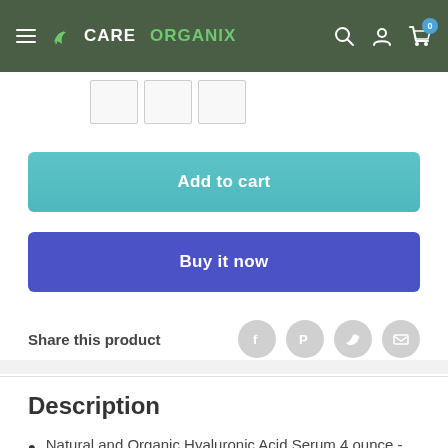CARE ORGANIX
[Figure (screenshot): Three product image thumbnails in a row]
[Figure (other): Add to cart button – teal/cyan rounded rectangle]
[Figure (other): Buy it now button – blue/indigo rounded rectangle]
Share this product
Description
Natural and Organic Hyaluronic Acid Serum 4 ounce -
Improve skin texture and brightness with intense moisture and